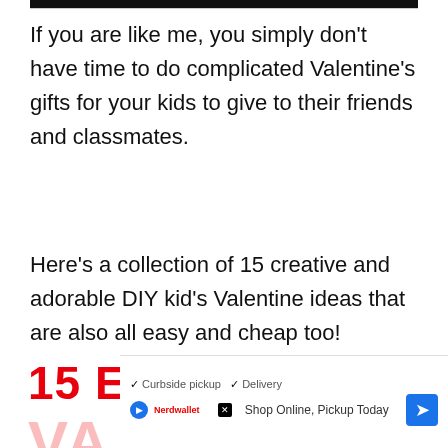If you are like me, you simply don't have time to do complicated Valentine's gifts for your kids to give to their friends and classmates.
Here's a collection of 15 creative and adorable DIY kid's Valentine ideas that are also all easy and cheap too!
15 EASY CHEAP
[Figure (screenshot): Advertisement banner with curbside pickup and delivery options, play button, store logo, X button, and navigation arrow icon]
VA